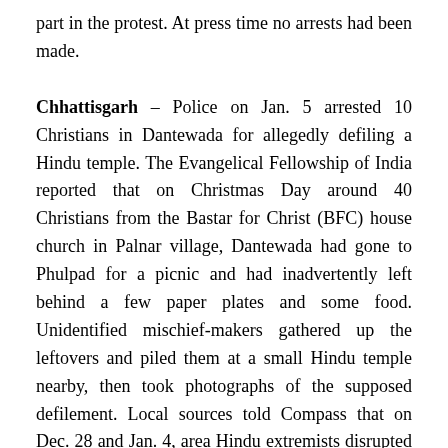part in the protest. At press time no arrests had been made.
Chhattisgarh – Police on Jan. 5 arrested 10 Christians in Dantewada for allegedly defiling a Hindu temple. The Evangelical Fellowship of India reported that on Christmas Day around 40 Christians from the Bastar for Christ (BFC) house church in Palnar village, Dantewada had gone to Phulpad for a picnic and had inadvertently left behind a few paper plates and some food. Unidentified mischief-makers gathered up the leftovers and piled them at a small Hindu temple nearby, then took photographs of the supposed defilement. Local sources told Compass that on Dec. 28 and Jan. 4, area Hindu extremists disrupted a prayer service at the BFC house church, and on Jan. 5 police from Kua Kunda arrested associate pastor Shankar Sona and nine other Christians based on a police complaint filed by a Hindu extremist, and the case was tried before a Dali